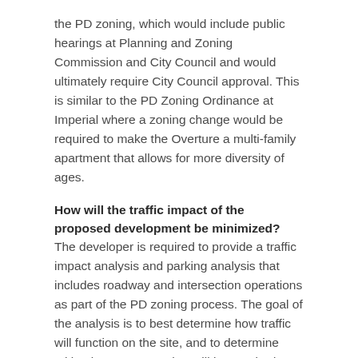the PD zoning, which would include public hearings at Planning and Zoning Commission and City Council and would ultimately require City Council approval. This is similar to the PD Zoning Ordinance at Imperial where a zoning change would be required to make the Overture a multi-family apartment that allows for more diversity of ages.
How will the traffic impact of the proposed development be minimized?
The developer is required to provide a traffic impact analysis and parking analysis that includes roadway and intersection operations as part of the PD zoning process. The goal of the analysis is to best determine how traffic will function on the site, and to determine mitigation measures that will be required – at the developer's expense – to maintain an optimized flow of regional traffic flow and mitigate the impact on adjacent roadways and neighborhoods. While development, by its nature generates traffic, the City strives to ensure the impact is minimized for all.